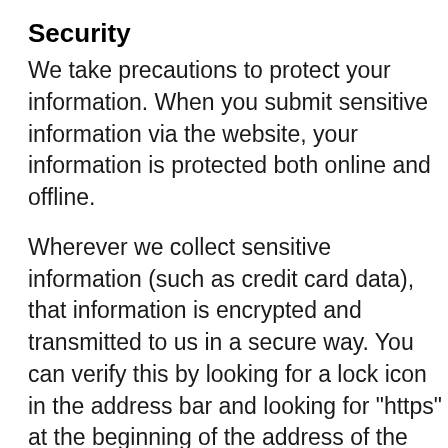Security
We take precautions to protect your information. When you submit sensitive information via the website, your information is protected both online and offline.
Wherever we collect sensitive information (such as credit card data), that information is encrypted and transmitted to us in a secure way. You can verify this by looking for a lock icon in the address bar and looking for "https" at the beginning of the address of the Web page.
While we use encryption to protect sensitive